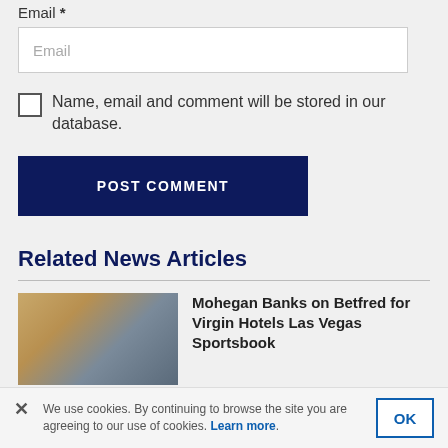Email *
Email (placeholder)
Name, email and comment will be stored in our database.
POST COMMENT
Related News Articles
Mohegan Banks on Betfred for Virgin Hotels Las Vegas Sportsbook
We use cookies. By continuing to browse the site you are agreeing to our use of cookies. Learn more.